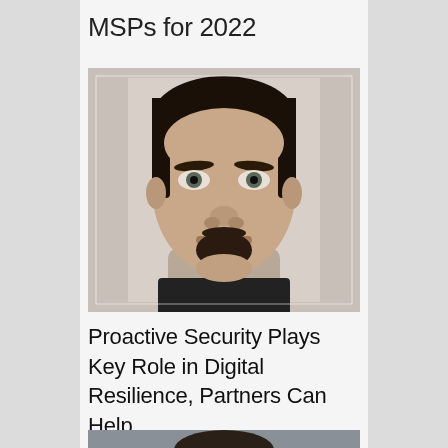MSPs for 2022
[Figure (photo): Headshot photo of a man with dark hair and a goatee, wearing a dark shirt, facing the camera]
Proactive Security Plays Key Role in Digital Resilience, Partners Can Help
[Figure (photo): Partial headshot photo visible at bottom of page, person with dark hair]